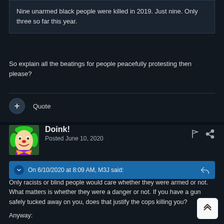Nine unarmed black people were killed in 2019.  Just nine.  Only three so far this year.
So explain all the beatings for people peacefully protesting then please?
Quote
Doink!
Posted June 10, 2020
On 6/10/2020 at 8:09 AM, M3J said:
Only racists or blind people would care whether they were armed or not. What matters is whether they were a danger or not. If you have a gun safely tucked away on you, does that justify the cops killing you?

Anyway: